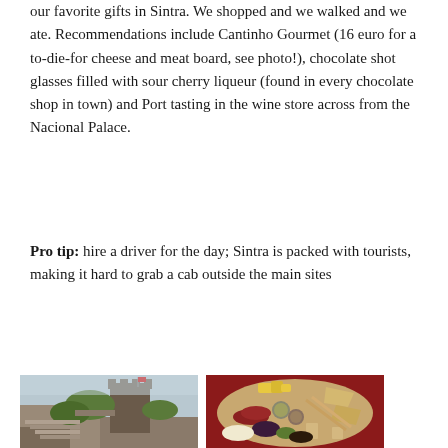our favorite gifts in Sintra. We shopped and we walked and we ate. Recommendations include Cantinho Gourmet (16 euro for a to-die-for cheese and meat board, see photo!), chocolate shot glasses filled with sour cherry liqueur (found in every chocolate shop in town) and Port tasting in the wine store across from the Nacional Palace.
Pro tip: hire a driver for the day; Sintra is packed with tourists, making it hard to grab a cab outside the main sites
[Figure (photo): Photo of a medieval castle wall with stone steps and a tower with a flag, surrounded by green vegetation and misty sky]
[Figure (photo): Photo of a large wooden board/plate filled with an assortment of cheeses, cured meats, crackers, jams, and condiments on a red background]